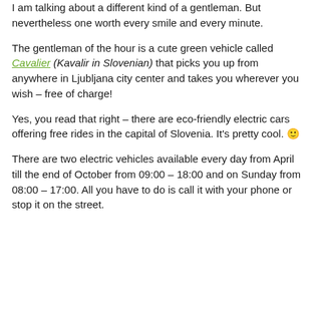I am talking about a different kind of a gentleman. But nevertheless one worth every smile and every minute.
The gentleman of the hour is a cute green vehicle called Cavalier (Kavalir in Slovenian) that picks you up from anywhere in Ljubljana city center and takes you wherever you wish – free of charge!
Yes, you read that right – there are eco-friendly electric cars offering free rides in the capital of Slovenia. It's pretty cool. 🙂
There are two electric vehicles available every day from April till the end of October from 09:00 – 18:00 and on Sunday from 08:00 – 17:00. All you have to do is call it with your phone or stop it on the street.